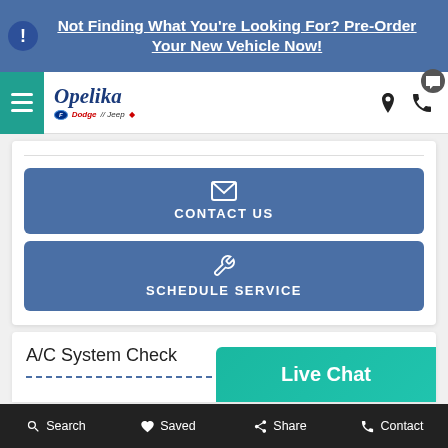Not Finding What You're Looking For? Pre-Order Your New Vehicle Now!
[Figure (screenshot): Opelika Ford Dodge Jeep dealership website navigation bar with logo, hamburger menu, location and phone icons]
CONTACT US
SCHEDULE SERVICE
A/C System Check
Live Chat
Search  Saved  Share  Contact